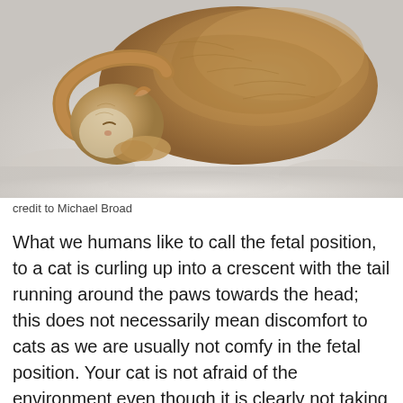[Figure (photo): A cat curled up in a fetal/crescent position sleeping on a white surface, viewed from above. The cat has brown/tawny fur and its tail wraps around towards its head.]
credit to Michael Broad
What we humans like to call the fetal position, to a cat is curling up into a crescent with the tail running around the paws towards the head; this does not necessarily mean discomfort to cats as we are usually not comfy in the fetal position. Your cat is not afraid of the environment even though it is clearly not taking any chances by revealing vulnerable body parts. Also, this position means that the cat is trying to retain body temperature.